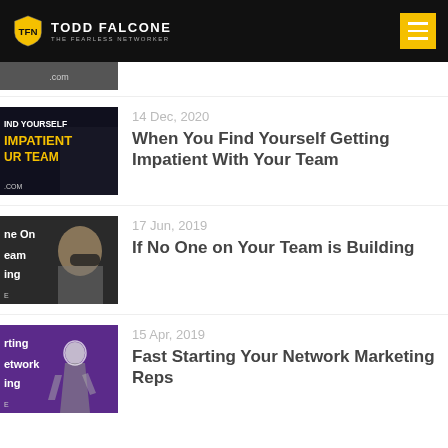Todd Falcone – The Fearless Networker
[Figure (screenshot): Partially visible thumbnail of a blog post at top of list]
14 Dec, 2020
When You Find Yourself Getting Impatient With Your Team
[Figure (photo): Thumbnail image with text: FIND YOURSELF IMPATIENT YOUR TEAM]
17 Jun, 2019
If No One on Your Team is Building
[Figure (photo): Thumbnail image with text: One On Team ing – person with headphones]
15 Apr, 2019
Fast Starting Your Network Marketing Reps
[Figure (photo): Thumbnail image with text: rting etwork ing – person running on purple background]